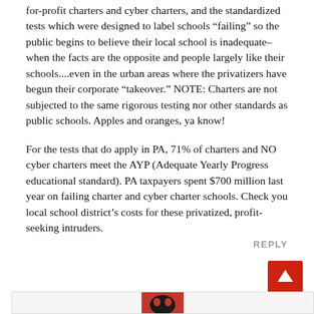for-profit charters and cyber charters, and the standardized tests which were designed to label schools “failing” so the public begins to believe their local school is inadequate–when the facts are the opposite and people largely like their schools....even in the urban areas where the privatizers have begun their corporate “takeover.” NOTE: Charters are not subjected to the same rigorous testing nor other standards as public schools. Apples and oranges, ya know!
For the tests that do apply in PA, 71% of charters and NO cyber charters meet the AYP (Adequate Yearly Progress educational standard). PA taxpayers spent $700 million last year on failing charter and cyber charter schools. Check you local school district’s costs for these privatized, profit-seeking intruders.
REPLY
[Figure (other): Red scroll-to-top button with white upward arrow]
[Figure (photo): Partial view of a red and black avatar/profile image at the bottom of the page]